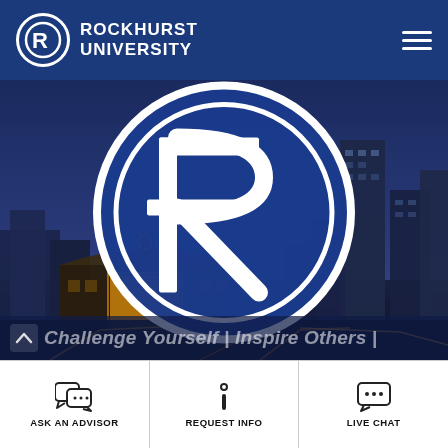Rockhurst University
[Figure (screenshot): Rockhurst University mobile website screenshot showing the university logo overlaid on a Kansas City skyline hero image at dusk, with the tagline 'Challenge Yourself | Inspire Others |' and a bottom navigation bar with ASK AN ADVISOR, REQUEST INFO, and LIVE CHAT buttons.]
Challenge Yourself | Inspire Others |
ASK AN ADVISOR
REQUEST INFO
LIVE CHAT